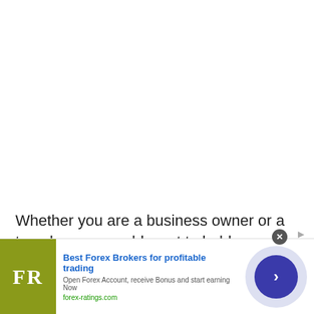Whether you are a business owner or a traveler, you would want to hold your money until the exchange rate is more favorable. However, there is a huge difference between
[Figure (infographic): Advertisement banner for Best Forex Brokers. Contains FR logo on olive/yellow-green background, ad text 'Best Forex Brokers for profitable trading', subtext 'Open Forex Account, receive Bonus and start earning Now', URL 'forex-ratings.com', and a dark blue circular arrow button.]